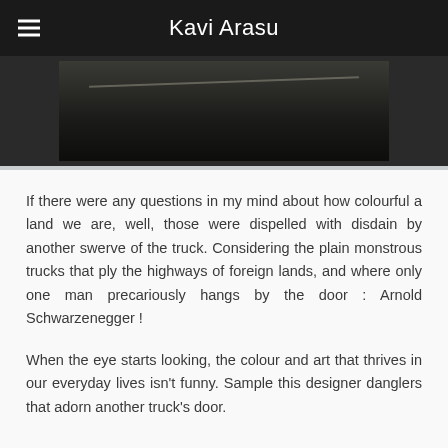Kavi Arasu
[Figure (photo): Partial view of a dark photograph, likely showing a truck or road scene, cropped at the top of the page]
If there were any questions in my mind about how colourful a land we are, well, those were dispelled with disdain by another swerve of the truck. Considering the plain monstrous trucks that ply the highways of foreign lands, and where only one man precariously hangs by the door : Arnold Schwarzenegger !
When the eye starts looking, the colour and art that thrives in our everyday lives isn't funny. Sample this designer danglers that adorn another truck's door.